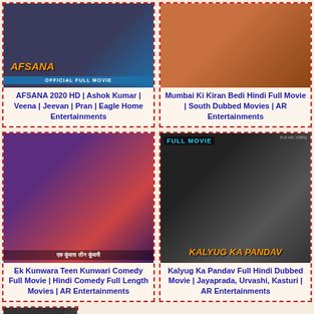[Figure (photo): Movie thumbnail for AFSANA 2020 - dark background with orange stylized text]
AFSANA 2020 HD | Ashok Kumar | Veena | Jeevan | Pran | Eagle Home Entertainments
[Figure (photo): Movie thumbnail for Mumbai Ki Kiran Bedi - action scene with woman in pink top]
Mumbai Ki Kiran Bedi Hindi Full Movie | South Dubbed Movies | AR Entertainments
[Figure (photo): Movie thumbnail for Ek Kunwara Teen Kunwari - Bollywood movie poster with three women]
Ek Kunwara Teen Kunwari Comedy Full Movie | Hindi Comedy Full Length Movies | AR Entertainments
[Figure (photo): Movie thumbnail for Kalyug Ka Pandav - men in sunglasses action movie poster]
Kalyug Ka Pandav Full Hindi Dubbed Movie | Jayaprada, Urvashi, Kasturi | AR Entertainments
[Figure (photo): Partial movie thumbnail bottom left - dark figure]
[Figure (photo): Partial movie thumbnail bottom right - partially visible]
[Figure (infographic): Social media sharing buttons: Facebook, Twitter, Pinterest, WhatsApp, Blogger, Plus]